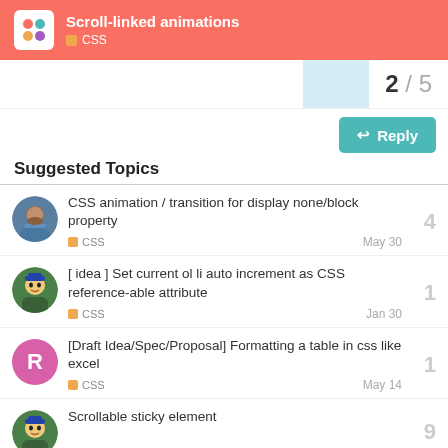Scroll-linked animations — CSS
2 / 5
Reply
Suggested Topics
CSS animation / transition for display none/block property | CSS | May 30 | 4
[ idea ] Set current ol li auto increment as CSS reference-able attribute | CSS | Jan 30 | 1
[Draft Idea/Spec/Proposal] Formatting a table in css like excel | CSS | May 14 | 1
Scrollable sticky element | 9